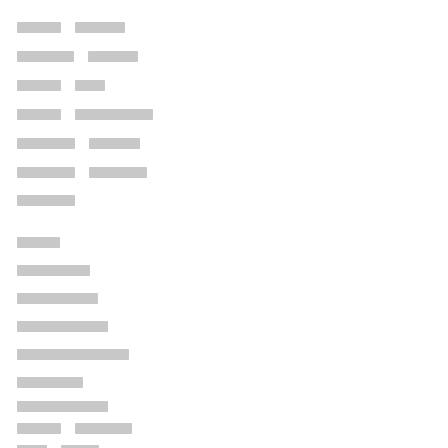[redacted line 1]
[redacted line 2]
[redacted line 3]
[redacted line 4]
[redacted line 5]
[redacted line 6]
[redacted line 7]
[redacted line 8]
[redacted line 9]
[redacted line 10]
[redacted line 11]
[redacted line 12]
[redacted line 13]
[redacted line 14]
[redacted line 15]
[redacted line 16]
[redacted line 17]
[redacted line 18]